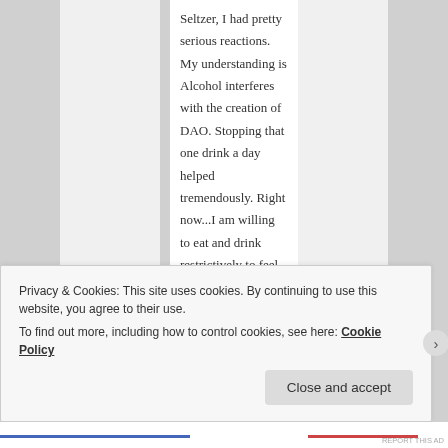Seltzer, I had pretty serious reactions. My understanding is Alcohol interferes with the creation of DAO. Stopping that one drink a day helped tremendously. Right now...I am willing to eat and drink restrictively to feel better after having felt so badly for
Privacy & Cookies: This site uses cookies. By continuing to use this website, you agree to their use.
To find out more, including how to control cookies, see here: Cookie Policy
Close and accept